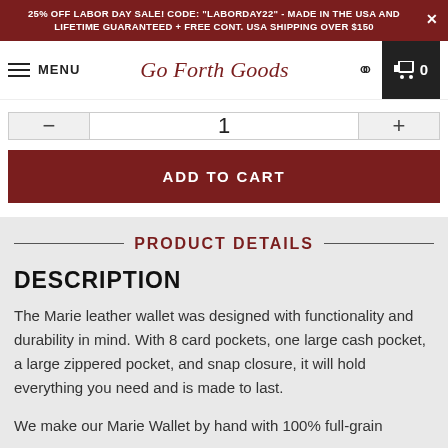25% OFF LABOR DAY SALE! CODE: "LABORDAY22" - MADE IN THE USA AND LIFETIME GUARANTEED + FREE CONT. USA SHIPPING OVER $150
MENU  Go Forth Goods  🔍  🛒 0
1
ADD TO CART
PRODUCT DETAILS
DESCRIPTION
The Marie leather wallet was designed with functionality and durability in mind. With 8 card pockets, one large cash pocket, a large zippered pocket, and snap closure, it will hold everything you need and is made to last.
We make our Marie Wallet by hand with 100% full-grain